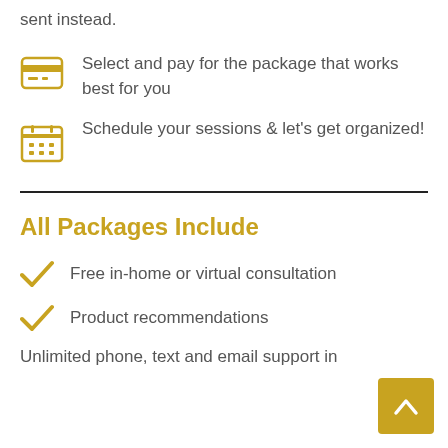sent instead.
Select and pay for the package that works best for you
Schedule your sessions & let's get organized!
All Packages Include
Free in-home or virtual consultation
Product recommendations
Unlimited phone, text and email support in